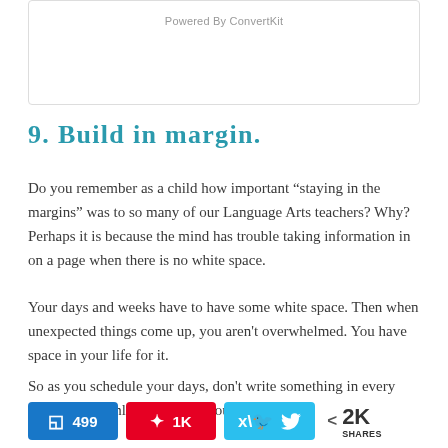Powered By ConvertKit
9. Build in margin.
Do you remember as a child how important “staying in the margins” was to so many of our Language Arts teachers? Why? Perhaps it is because the mind has trouble taking information in on a page when there is no white space.
Your days and weeks have to have some white space. Then when unexpected things come up, you aren't overwhelmed. You have space in your life for it.
So as you schedule your days, don't write something in every minute of it (unless of course you are
499 | 1K | 2K SHARES